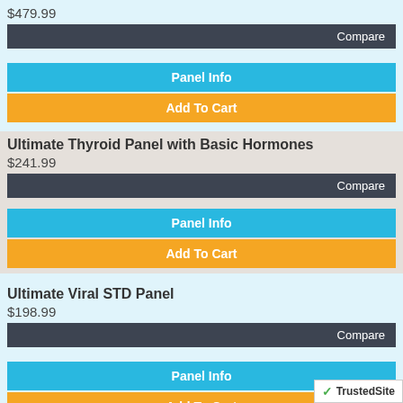$479.99
Compare
Panel Info
Add To Cart
Ultimate Thyroid Panel with Basic Hormones
$241.99
Compare
Panel Info
Add To Cart
Ultimate Viral STD Panel
$198.99
Compare
Panel Info
Add To Cart
Ultimate Viral STD Panel with Hep B and C
TrustedSite